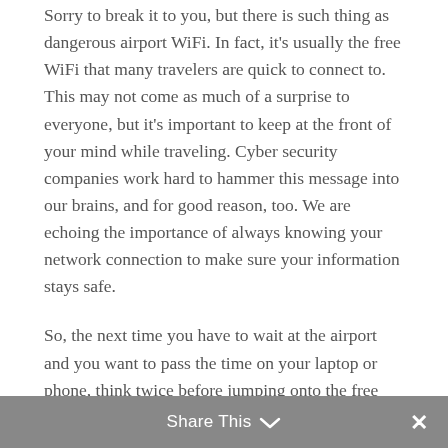Sorry to break it to you, but there is such thing as dangerous airport WiFi. In fact, it’s usually the free WiFi that many travelers are quick to connect to. This may not come as much of a surprise to everyone, but it’s important to keep at the front of your mind while traveling. Cyber security companies work hard to hammer this message into our brains, and for good reason, too. We are echoing the importance of always knowing your network connection to make sure your information stays safe.
So, the next time you have to wait at the airport and you want to pass the time on your laptop or phone, think twice before jumping onto the free WiFi (even though it is so easy to do it).
Share This ✓  ✕